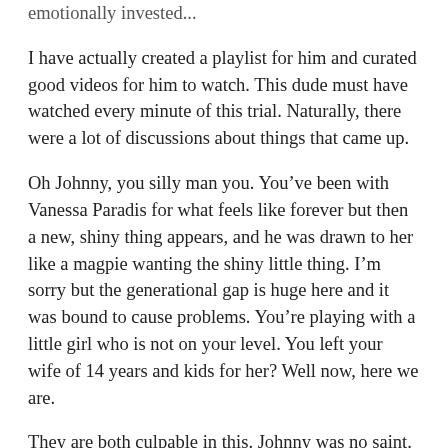emotionally invested...
I have actually created a playlist for him and curated good videos for him to watch. This dude must have watched every minute of this trial. Naturally, there were a lot of discussions about things that came up.
Oh Johnny, you silly man you. You’ve been with Vanessa Paradis for what feels like forever but then a new, shiny thing appears, and he was drawn to her like a magpie wanting the shiny little thing. I’m sorry but the generational gap is huge here and it was bound to cause problems. You’re playing with a little girl who is not on your level. You left your wife of 14 years and kids for her? Well now, here we are.
They are both culpable in this. Johnny was no saint. Amber however is shrewd. She may be young, but she is smart! They both used drugs, but I love how she frames her drug use – “You know we took the